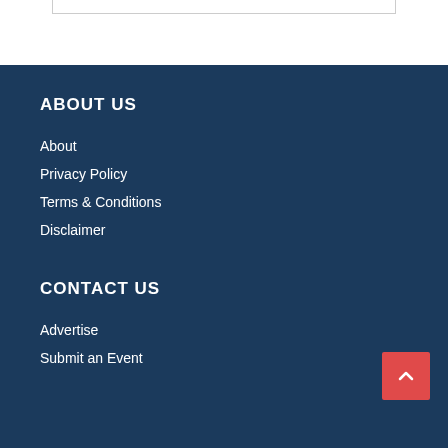ABOUT US
About
Privacy Policy
Terms & Conditions
Disclaimer
CONTACT US
Advertise
Submit an Event